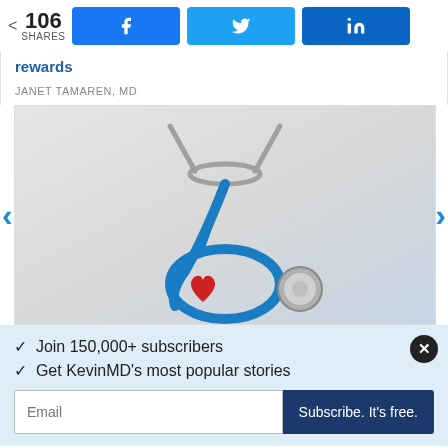106 SHARES | Facebook share | Twitter share | LinkedIn share
rewards
JANET TAMAREN, MD
[Figure (photo): Blue stethoscope with a red heart shape object resting on its chest piece, placed on a light gray surface.]
✓ Join 150,000+ subscribers
✓ Get KevinMD's most popular stories
Email | Subscribe. It's free.